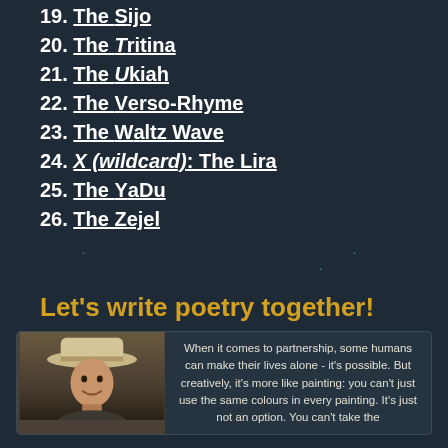19. The Sijo
20. The Tritina
21. The Ukiah
22. The Verso-Rhyme
23. The Waltz Wave
24. X (wildcard): The Lira
25. The YaDu
26. The Zejel
Let's write poetry together!
[Figure (photo): Portrait photo of a man wearing a wide-brimmed hat, smiling]
When it comes to partnership, some humans can make their lives alone - it's possible. But creatively, it's more like painting: you can't just use the same colours in every painting. It's just not an option. You can't take the